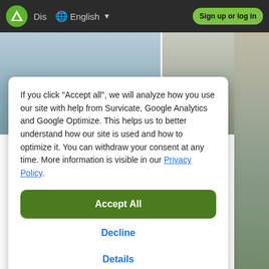[Figure (screenshot): Website navigation bar with logo, 'Dis' text, globe icon with English language selector, and green 'Sign up or log in' button on dark background]
[Figure (photo): Outdoor landscape background image split by vertical divider, showing sky and terrain]
If you click "Accept all", we will analyze how you use our site with help from Survicate, Google Analytics and Google Optimize. This helps us to better understand how our site is used and how to optimize it. You can withdraw your consent at any time. More information is visible in our Privacy Policy.
Accept All
Decline
Details
mountain huts in the region. Accordingly, it is also